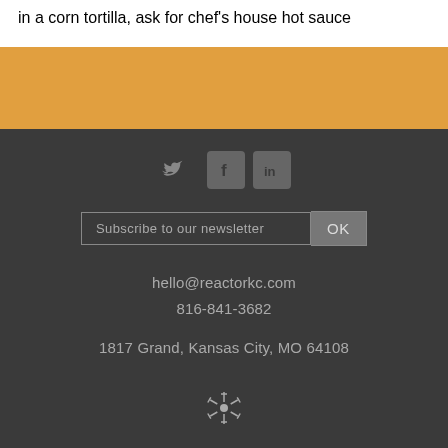in a corn tortilla, ask for chef's house hot sauce
[Figure (illustration): Orange/amber colored band separator]
[Figure (illustration): Social media icons: Twitter bird, Facebook f box, LinkedIn in box]
Subscribe to our newsletter
hello@reactorkc.com
816-841-3682
1817 Grand, Kansas City, MO 64108
[Figure (logo): Reactor atom/snowflake logo icon in light gray]